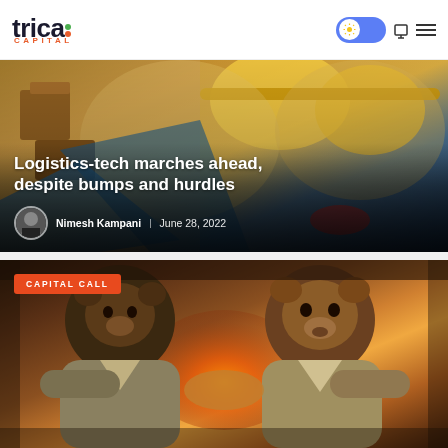trica CAPITAL
[Figure (illustration): Article hero image with cartoon-style illustration of a character with glasses and boxes, serving as background for logistics article]
Logistics-tech marches ahead, despite bumps and hurdles
Nimesh Kampani  |  June 28, 2022
[Figure (photo): A bull and bear anthropomorphized animals in suits shaking hands or confronting each other in front of a fireplace, with CAPITAL CALL badge overlay]